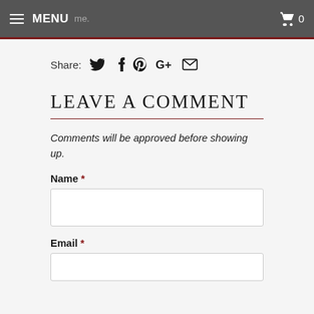MENU  0
Share: [twitter] [facebook] [pinterest] [google+] [email]
LEAVE A COMMENT
Comments will be approved before showing up.
Name *
Email *